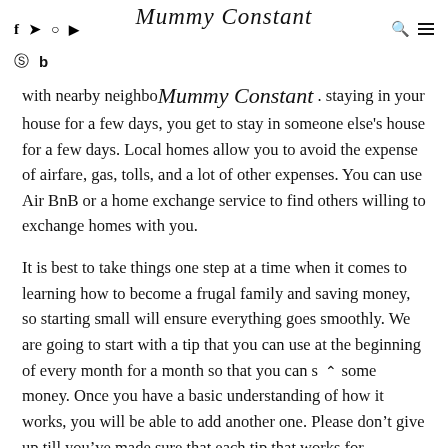f  y  [instagram]  [youtube]   Mummy Constant   [search] [menu]
[pinterest] [bloglovin]
with nearby neighbo... staying in your house for a few days, you get to stay in someone else's house for a few days. Local homes allow you to avoid the expense of airfare, gas, tolls, and a lot of other expenses. You can use Air BnB or a home exchange service to find others willing to exchange homes with you.
It is best to take things one step at a time when it comes to learning how to become a frugal family and saving money, so starting small will ensure everything goes smoothly. We are going to start with a tip that you can use at the beginning of every month for a month so that you can s... some money. Once you have a basic understanding of how it works, you will be able to add another one. Please don't give up till you've made sure that each tip that works for